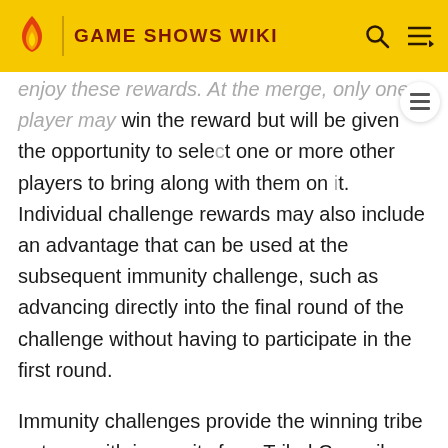GAME SHOWS WIKI
enjoy these rewards. At the merge, only one player may win the reward but will be given the opportunity to select one or more other players to bring along with them on it. Individual challenge rewards may also include an advantage that can be used at the subsequent immunity challenge, such as advancing directly into the final round of the challenge without having to participate in the first round.
Immunity challenges provide the winning tribe or team with immunity from Tribal Council. Immunity is usually represented in a form of an idol prior to the merge, and a necklace afterwards. Prior to the merge, tribes with immunity do not attend Tribal Council, allowing them to stay intact. In seasons featuring more than two tribes,